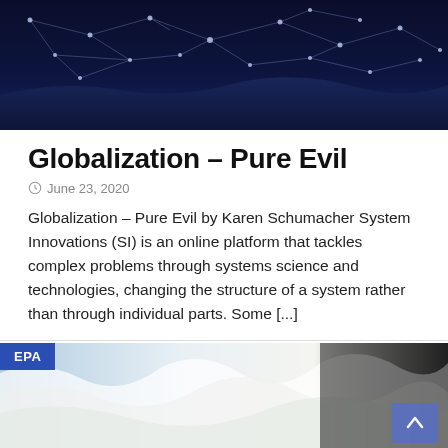[Figure (photo): Dark blue world map with glowing network connection lines overlay, aerial/satellite-style view]
Globalization – Pure Evil
June 23, 2020
Globalization – Pure Evil by Karen Schumacher System Innovations (SI) is an online platform that tackles complex problems through systems science and technologies, changing the structure of a system rather than through individual parts. Some [...]
[Figure (photo): Aerial view of white water waves/waterfall with EPA label badge in top-left corner and a scroll-to-top button in lower-right corner]